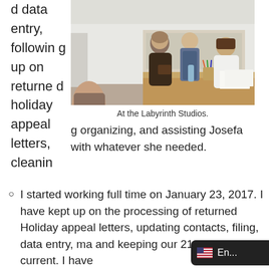d data entry, following up on returned holiday appeal letters, cleaning organizing, and assisting Josefa with whatever she needed.
[Figure (photo): Three people standing around a table in an art studio (Labyrinth Studios). One person in a dark hoodie holds a folder, a second in a blue apron stands in the middle, and a third in a white lab coat sits at the table. Art supplies and materials are visible on the table and in the background.]
At the Labyrinth Studios.
I started working full time on January 23, 2017. I have kept up on the processing of returned Holiday appeal letters, updating contacts, filing, data entry, ma and keeping our 2107 binders current. I have